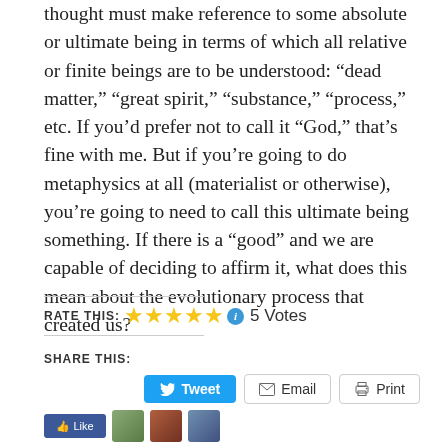thought must make reference to some absolute or ultimate being in terms of which all relative or finite beings are to be understood: “dead matter,” “great spirit,” “substance,” “process,” etc. If you’d prefer not to call it “God,” that’s fine with me. But if you’re going to do metaphysics at all (materialist or otherwise), you’re going to need to call this ultimate being something. If there is a “good” and we are capable of deciding to affirm it, what does this mean about the evolutionary process that created us?
RATE THIS: ★★★★★ 5 Votes
SHARE THIS:
Tweet   Email   Print